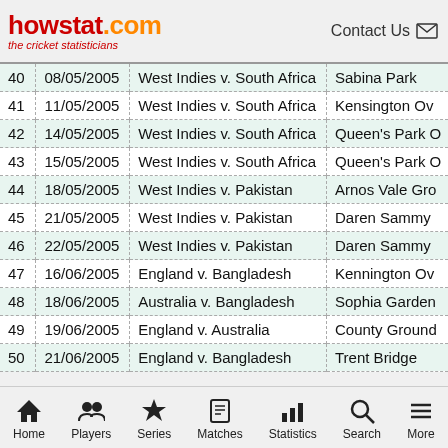howstat.com the cricket statisticians | Contact Us
| # | Date | Match | Venue |
| --- | --- | --- | --- |
| 40 | 08/05/2005 | West Indies v. South Africa | Sabina Park |
| 41 | 11/05/2005 | West Indies v. South Africa | Kensington Ov |
| 42 | 14/05/2005 | West Indies v. South Africa | Queen's Park O |
| 43 | 15/05/2005 | West Indies v. South Africa | Queen's Park O |
| 44 | 18/05/2005 | West Indies v. Pakistan | Arnos Vale Gro |
| 45 | 21/05/2005 | West Indies v. Pakistan | Daren Sammy |
| 46 | 22/05/2005 | West Indies v. Pakistan | Daren Sammy |
| 47 | 16/06/2005 | England v. Bangladesh | Kennington Ov |
| 48 | 18/06/2005 | Australia v. Bangladesh | Sophia Garden |
| 49 | 19/06/2005 | England v. Australia | County Ground |
| 50 | 21/06/2005 | England v. Bangladesh | Trent Bridge |
Home | Players | Series | Matches | Statistics | Search | More